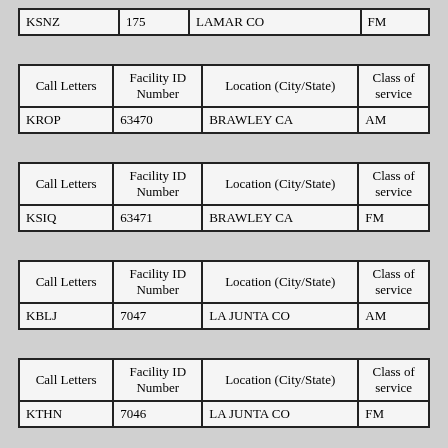| Call Letters | Facility ID Number | Location (City/State) | Class of service |
| --- | --- | --- | --- |
| KSNZ | 175 | LAMAR CO | FM |
| Call Letters | Facility ID Number | Location (City/State) | Class of service |
| --- | --- | --- | --- |
| KROP | 63470 | BRAWLEY CA | AM |
| Call Letters | Facility ID Number | Location (City/State) | Class of service |
| --- | --- | --- | --- |
| KSIQ | 63471 | BRAWLEY CA | FM |
| Call Letters | Facility ID Number | Location (City/State) | Class of service |
| --- | --- | --- | --- |
| KBLJ | 7047 | LA JUNTA CO | AM |
| Call Letters | Facility ID Number | Location (City/State) | Class of service |
| --- | --- | --- | --- |
| KTHN | 7046 | LA JUNTA CO | FM |